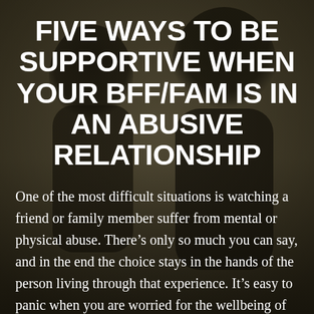[Figure (photo): Dark, muted background photo of two people (silhouetted figures), one appearing to embrace or stand behind the other, with a warm brownish-grey tone.]
FIVE WAYS TO BE SUPPORTIVE WHEN YOUR BFF/FAM IS IN AN ABUSIVE RELATIONSHIP
One of the most difficult situations is watching a friend or family member suffer from mental or physical abuse. There's only so much you can say, and in the end the choice stays in the hands of the person living through that experience. It's easy to panic when you are worried for the wellbeing of [...]
Read More